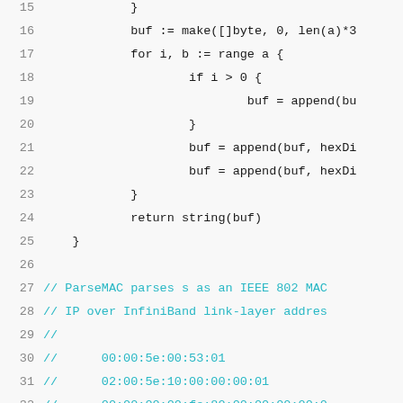Source code listing, lines 15-38, showing Go code with ParseMAC comment block
15    }
16    buf := make([]byte, 0, len(a)*3
17    for i, b := range a {
18        if i > 0 {
19            buf = append(bu
20        }
21        buf = append(buf, hexDi
22        buf = append(buf, hexDi
23    }
24    return string(buf)
25 }
26
27 // ParseMAC parses s as an IEEE 802 MAC
28 // IP over InfiniBand link-layer addres
29 //
30 //    00:00:5e:00:53:01
31 //    02:00:5e:10:00:00:00:01
32 //    00:00:00:00:fe:80:00:00:00:00:0
33 //    00-00-5e-00-53-01
34 //    02-00-5e-10-00-00-00-01 (with highlight on 10-00-00-00-01)
35 //    00-00-00-00-fe-80-00-00-00-00-0 (highlighted line)
36 //    0000.5e00.5301
37 //    0200.5e10.0000.0001
38 //    0000.0000.fe80.0000.0000.0000.0